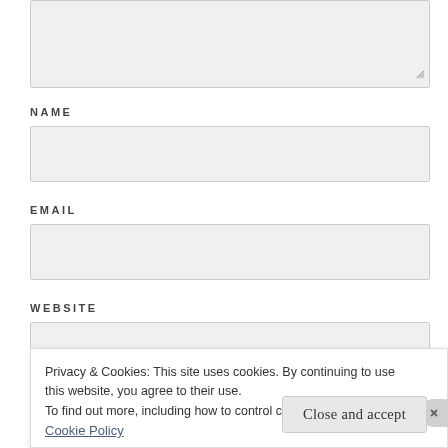[Figure (screenshot): A textarea input box (resizable) with a resize handle in the bottom-right corner, shown at the top of the page.]
NAME
[Figure (screenshot): A text input field for NAME, light gray background, rectangular.]
EMAIL
[Figure (screenshot): A text input field for EMAIL, light gray background, rectangular.]
WEBSITE
[Figure (screenshot): A text input field for WEBSITE, light gray background, rectangular.]
Privacy & Cookies: This site uses cookies. By continuing to use this website, you agree to their use.
To find out more, including how to control cookies, see here: Cookie Policy
Close and accept